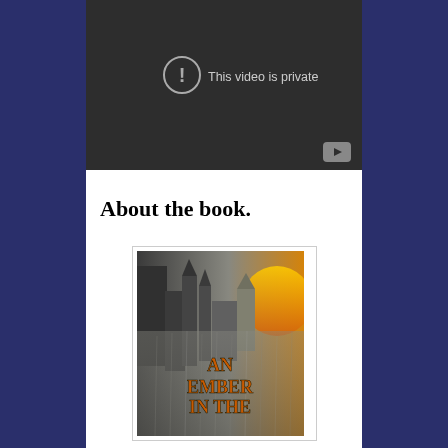[Figure (screenshot): Video player showing 'This video is private' error message with exclamation mark icon and YouTube logo in bottom right corner. Dark background.]
About the book.
[Figure (photo): Book cover of 'An Ember in the...' showing a gothic cathedral with dramatic golden fiery sky and waterfall or rain effect over the scene.]